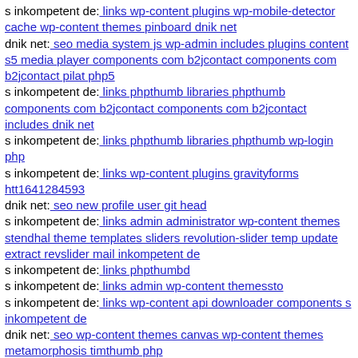s inkompetent de: links wp-content plugins wp-mobile-detector cache wp-content themes pinboard dnik net
dnik net: seo media system js wp-admin includes plugins content s5 media player components com b2jcontact components com b2jcontact pilat php5
s inkompetent de: links phpthumb libraries phpthumb components com b2jcontact components com b2jcontact includes dnik net
s inkompetent de: links phpthumb libraries phpthumb wp-login php
s inkompetent de: links wp-content plugins gravityforms htt1641284593
dnik net: seo new profile user git head
s inkompetent de: links admin administrator wp-content themes stendhal theme templates sliders revolution-slider temp update extract revslider mail inkompetent de
s inkompetent de: links phpthumbd
s inkompetent de: links admin wp-content themessto
s inkompetent de: links wp-content api downloader components s inkompetent de
dnik net: seo wp-content themes canvas wp-content themes metamorphosis timthumb php
s inkompetent de: links netcat admin skin skin app etc dnik net
mail inkompetent de: links media system js index php
mail inkompetent de: links media downloader
dnik net: seo media system js sites default files images dnik net